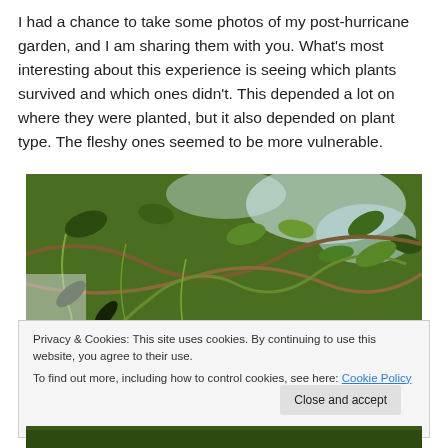I had a chance to take some photos of my post-hurricane garden, and I am sharing them with you. What's most interesting about this experience is seeing which plants survived and which ones didn't. This depended a lot on where they were planted, but it also depended on plant type. The fleshy ones seemed to be more vulnerable.
[Figure (photo): A close-up photograph of tangled, wind-damaged vines and branches from a post-hurricane garden. The stems are green and brown, intertwined and drooping, with some dark wilted leaves visible against a bright sky background.]
Privacy & Cookies: This site uses cookies. By continuing to use this website, you agree to their use.
To find out more, including how to control cookies, see here: Cookie Policy